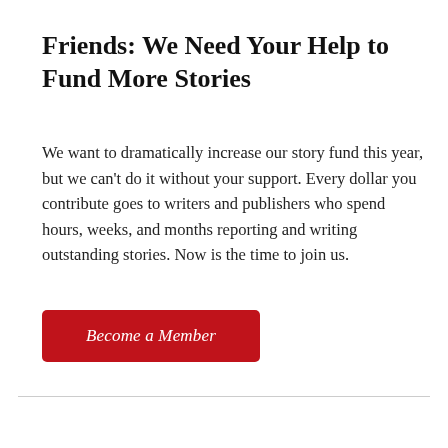Friends: We Need Your Help to Fund More Stories
We want to dramatically increase our story fund this year, but we can't do it without your support. Every dollar you contribute goes to writers and publishers who spend hours, weeks, and months reporting and writing outstanding stories. Now is the time to join us.
Become a Member